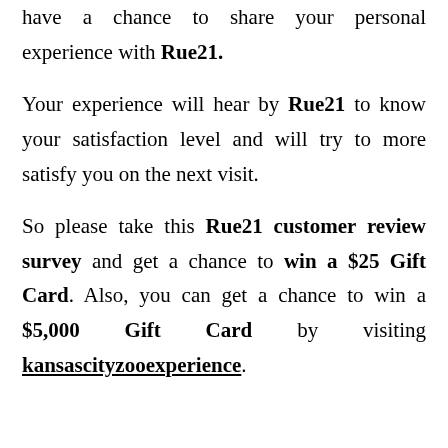have a chance to share your personal experience with Rue21.
Your experience will hear by Rue21 to know your satisfaction level and will try to more satisfy you on the next visit.
So please take this Rue21 customer review survey and get a chance to win a $25 Gift Card. Also, you can get a chance to win a $5,000 Gift Card by visiting kansascityzooexperience.